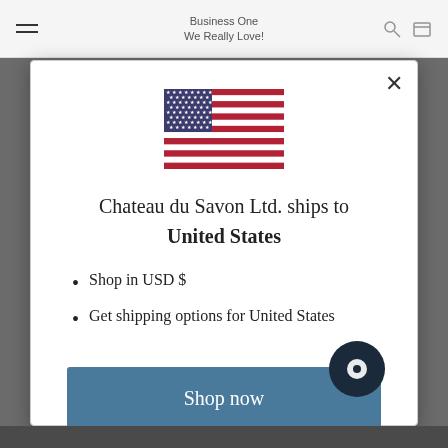Business One We Really Love!
[Figure (illustration): US flag emoji/icon displayed in the modal dialog]
Chateau du Savon Ltd. ships to United States
Shop in USD $
Get shipping options for United States
Shop now
Change shipping country